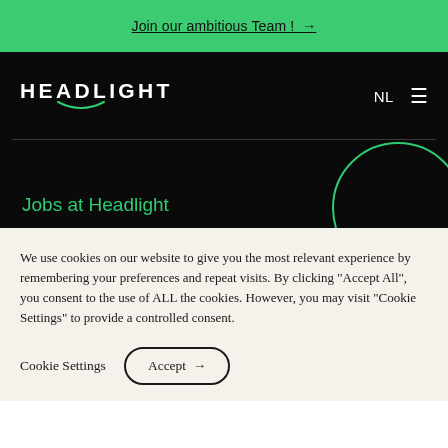Join our ambitious Team ! →
[Figure (logo): Headlight company logo in white text on black background with a smile/arc beneath the letter A]
Jobs at Headlight
We use cookies on our website to give you the most relevant experience by remembering your preferences and repeat visits. By clicking "Accept All", you consent to the use of ALL the cookies. However, you may visit "Cookie Settings" to provide a controlled consent.
Cookie Settings   Accept →